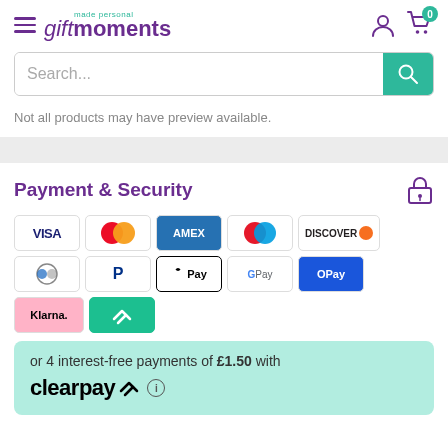gift moments — made personal
Search...
Not all products may have preview available.
Payment & Security
[Figure (infographic): Payment method icons: Visa, Mastercard, American Express, Maestro, Discover, Diners Club, PayPal, Apple Pay, Google Pay, OPay, Klarna, Clearpay]
or 4 interest-free payments of £1.50 with clearpay